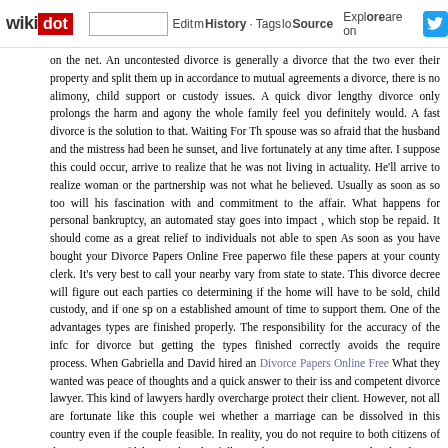wikidot | site | Edit | History | Tags | Source | Explore | Share on [Twitter]
on the net. An uncontested divorce is generally a divorce that the two ever their property and split them up in accordance to mutual agreements a divorce, there is no alimony, child support or custody issues. A quick divor lengthy divorce only prolongs the harm and agony the whole family feel you definitely would. A fast divorce is the solution to that. Waiting For Th spouse was so afraid that the husband and the mistress had been he sunset, and live fortunately at any time after. I suppose this could occur, arrive to realize that he was not living in actuality. He'll arrive to realize woman or the partnership was not what he believed. Usually as soon as so too will his fascination with and commitment to the affair. What happens for personal bankruptcy, an automated stay goes into impact , which stop be repaid. It should come as a great relief to individuals not able to spen As soon as you have bought your Divorce Papers Online Free paperwo file these papers at your county clerk. It's very best to call your nearby vary from state to state. This divorce decree will figure out each parties co determining if the home will have to be sold, child custody, and if one sp on a established amount of time to support them. One of the advantages types are finished properly. The responsibility for the accuracy of the infc for divorce but getting the types finished correctly avoids the require process. When Gabriella and David hired an Divorce Papers Online Free What they wanted was peace of thoughts and a quick answer to their iss and competent divorce lawyer. This kind of lawyers hardly overcharge protect their client. However, not all are fortunate like this couple wei whether a marriage can be dissolved in this country even if the couple feasible. In reality, you do not require to both citizens of this country to fil be residing lawfully in the country. Interestingly, the divorce courtroom indigenous nation. So, if you are a Kenyan or US citizen, you require nc regulations that first married you. Whether or not your nation will recogni up to your country's legal method. I spoke with a domestic courts lawy